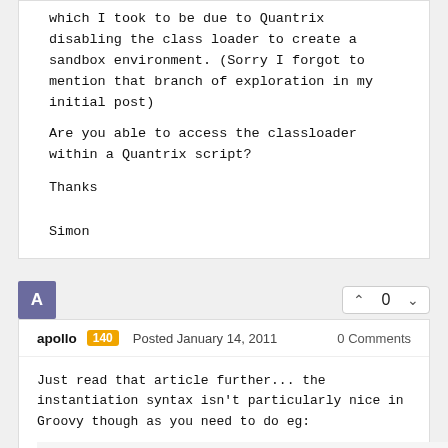which I took to be due to Quantrix disabling the class loader to create a sandbox environment. (Sorry I forgot to mention that branch of exploration in my initial post)
Are you able to access the classloader within a Quantrix script?
Thanks

Simon
apollo 140 Posted January 14, 2011 0 Comments
Just read that article further... the instantiation syntax isn't particularly nice in Groovy though as you need to do eg:
jaxbContext = Class.forName('javax.xml.bind.JAXBContext').newInstance()
whereas in jython this would be:
import javax.xml.bind.JAXBContext
jaxbContext = javax.xml.bind.JAXBContext()